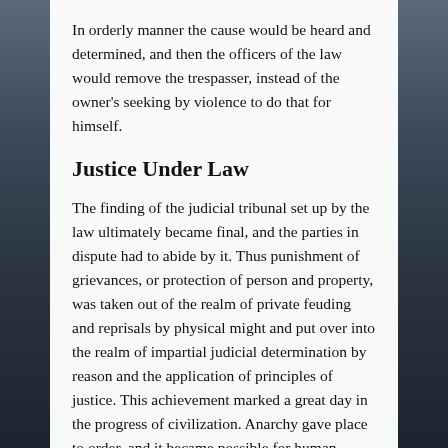In orderly manner the cause would be heard and determined, and then the officers of the law would remove the trespasser, instead of the owner's seeking by violence to do that for himself.
Justice Under Law
The finding of the judicial tribunal set up by the law ultimately became final, and the parties in dispute had to abide by it. Thus punishment of grievances, or protection of person and property, was taken out of the realm of private feuding and reprisals by physical might and put over into the realm of impartial judicial determination by reason and the application of principles of justice. This achievement marked a great day in the progress of civilization. Anarchy gave place to order, and it became possible for human beings to live together with a large degree of stability and